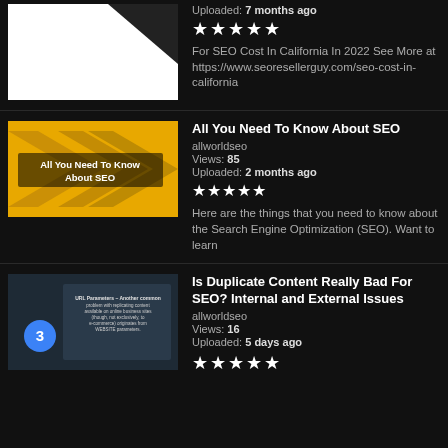[Figure (screenshot): Video thumbnail - white background with dark arrow/triangle shape at top right]
Uploaded: 7 months ago
[Figure (other): 5 star rating]
For SEO Cost In California In 2022 See More at https://www.seoresellerguy.com/seo-cost-in-california
[Figure (screenshot): Video thumbnail - yellow/gold background with dark chevron arrows and text 'All You Need To Know About SEO']
All You Need To Know About SEO
allworldseo
Views: 85
Uploaded: 2 months ago
[Figure (other): 5 star rating]
Here are the things that you need to know about the Search Engine Optimization (SEO). Want to learn
[Figure (screenshot): Video thumbnail - dark background showing slide with text about duplicate content and URL parameters, with blue circle containing number 3]
Is Duplicate Content Really Bad For SEO? Internal and External Issues
allworldseo
Views: 16
Uploaded: 5 days ago
[Figure (other): Star rating (partial view)]